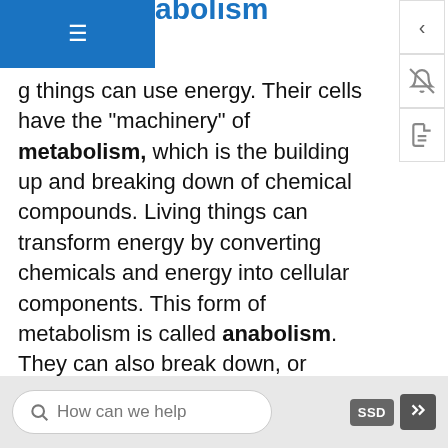abolism
g things can use energy. Their cells have the "machinery" of metabolism, which is the building up and breaking down of chemical compounds. Living things can transform energy by converting chemicals and energy into cellular components. This form of metabolism is called anabolism. They can also break down, or decompose, organic matter, which is called catabolism. Living things require energy to maintain internal conditions (homeostasis), for growth, and other life processes.
Growth
All living things have the capacity for growth. Growth is an increase in size that occurs when there is a higher
How can we help     metabolism     SSD